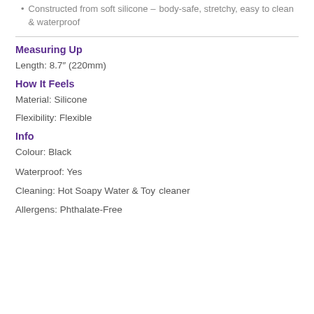Constructed from soft silicone – body-safe, stretchy, easy to clean & waterproof
Measuring Up
Length: 8.7″ (220mm)
How It Feels
Material: Silicone
Flexibility: Flexible
Info
Colour: Black
Waterproof: Yes
Cleaning: Hot Soapy Water & Toy cleaner
Allergens: Phthalate-Free